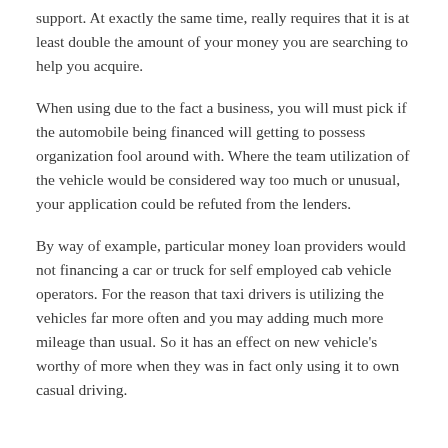support. At exactly the same time, really requires that it is at least double the amount of your money you are searching to help you acquire.
When using due to the fact a business, you will must pick if the automobile being financed will getting to possess organization fool around with. Where the team utilization of the vehicle would be considered way too much or unusual, your application could be refuted from the lenders.
By way of example, particular money loan providers would not financing a car or truck for self employed cab vehicle operators. For the reason that taxi drivers is utilizing the vehicles far more often and you may adding much more mileage than usual. So it has an effect on new vehicle's worthy of more when they was in fact only using it to own casual driving.